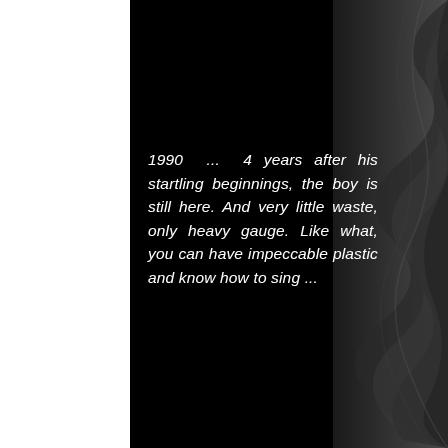[Figure (photo): Dark abstract background with curved black surfaces on the right side, white area on the left side, black center field.]
1990 ... 4 years after his startling beginnings, the boy is still here. And very little waste, only heavy gauge. Like what, you can have impeccable plastic and know how to sing ...